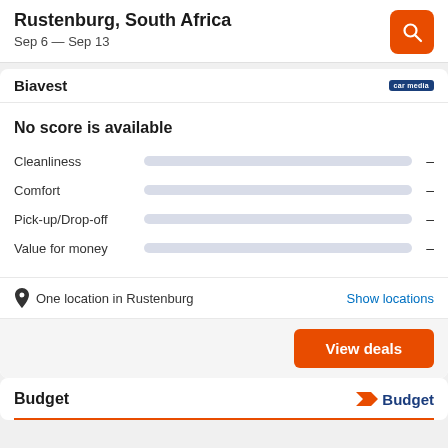Rustenburg, South Africa
Sep 6 — Sep 13
Biavest
No score is available
Cleanliness –
Comfort –
Pick-up/Drop-off –
Value for money –
One location in Rustenburg
Show locations
View deals
Budget